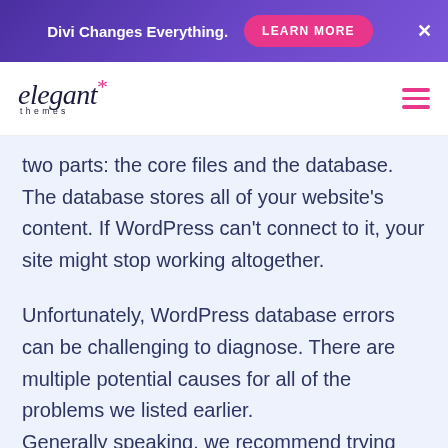Divi Changes Everything. LEARN MORE ×
[Figure (logo): Elegant Themes logo with asterisk and hamburger menu]
two parts: the core files and the database. The database stores all of your website's content. If WordPress can't connect to it, your site might stop working altogether.
Unfortunately, WordPress database errors can be challenging to diagnose. There are multiple potential causes for all of the problems we listed earlier.
Generally speaking, we recommend trying